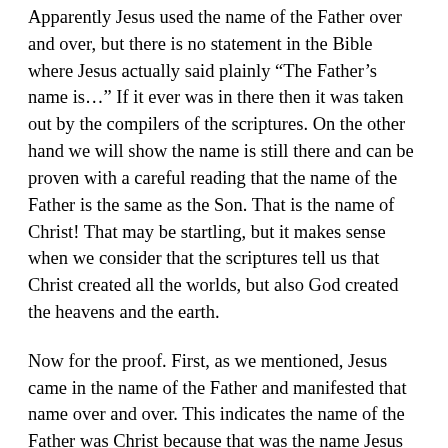Apparently Jesus used the name of the Father over and over, but there is no statement in the Bible where Jesus actually said plainly “The Father’s name is…” If it ever was in there then it was taken out by the compilers of the scriptures. On the other hand we will show the name is still there and can be proven with a careful reading that the name of the Father is the same as the Son. That is the name of Christ! That may be startling, but it makes sense when we consider that the scriptures tell us that Christ created all the worlds, but also God created the heavens and the earth.
Now for the proof. First, as we mentioned, Jesus came in the name of the Father and manifested that name over and over. This indicates the name of the Father was Christ because that was the name Jesus came in and manifested.
Second, he did his works in the “Father’s name”. John 10:25 He did his works in the name of Christ.
We are also told that the name of Christ is “Eman…